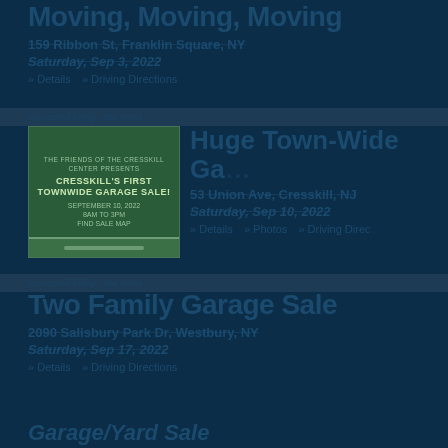Moving, Moving, Moving
159 Ribbon St, Franklin Square, NY
Saturday, Sep 3, 2022
» Details   » Driving Directions
separator bar
[Figure (photo): Promotional flyer for Cresskill's First Townwide Garage Sale, September 10, 2022, on dark green background]
Huge Town-Wide Ga...
53 Union Ave, Cresskill, NJ
Saturday, Sep 10, 2022
» Details   » Photos   » Driving Directions
separator bar
Two Family Garage Sale
2090 Salisbury Park Dr, Westbury, NY
Saturday, Sep 17, 2022
» Details   » Driving Directions
Garage/Yard Sale